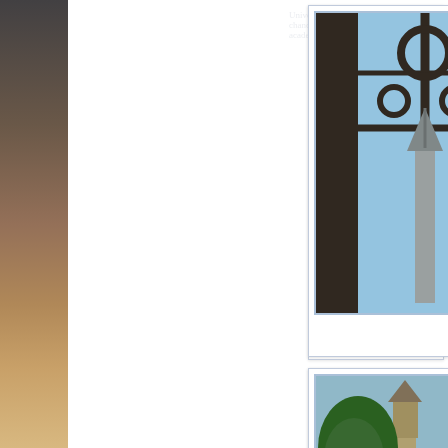[Figure (photo): Dark gradient sidebar on left side of page, brown to tan gradient]
[Figure (photo): Gothic cathedral window with church spire visible through it - entry image for John Roche O'...]
John Roche O'...
[Figure (photo): University building with tower and green trees - entry image for Dennis O'Conn...]
Dennis O'Conn...
[Figure (photo): Gothic university building with tall spire against blue sky - entry image for Morgan David...]
Morgan David...